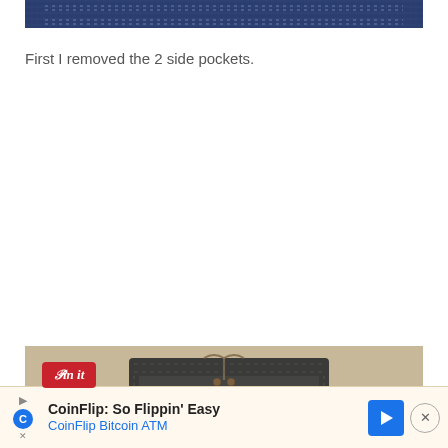[Figure (photo): Close-up of dark blue denim fabric texture showing stitching detail at the top of the page]
First I removed the 2 side pockets.
[Figure (photo): Photo of dark denim jeans pocket area on a beige/tan background with a Pinterest 'Pin it' button overlay]
[Figure (other): Advertisement bar for CoinFlip Bitcoin ATM with 'CoinFlip: So Flippin' Easy' and 'CoinFlip Bitcoin ATM' text, close button on the right]